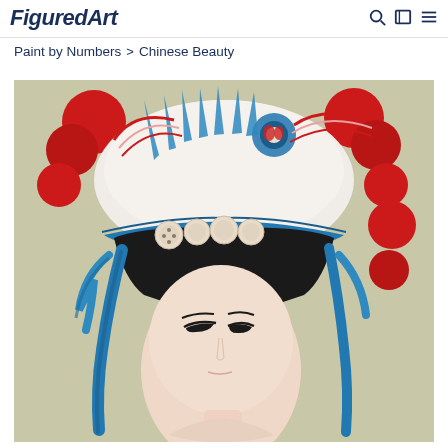FiguredArt
Paint by Numbers > Chinese Beauty
[Figure (illustration): Illustration of a Chinese opera performer wearing a traditional elaborate headdress with large red pompoms, blue decorative elements, white and red patterned crown ornaments, and blue ribbon streamers. The figure has a pale face with dramatic eye makeup and looks downward.]